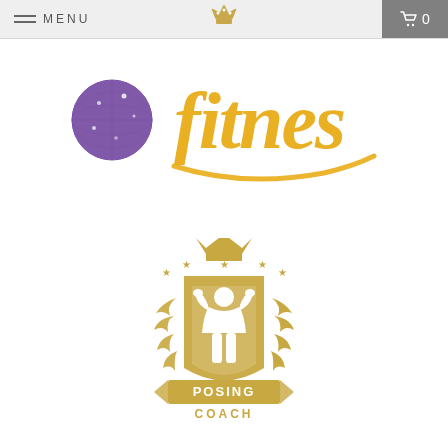MENU  [navigation bar with cart icon showing 0]
[Figure (logo): Fitness brand logo: purple glitter ball icon on left with gold cursive script text 'fitnes' in decorative athletic style]
[Figure (logo): Posing Coach emblem logo: gold shield with crown and stars at top, wheat/laurel wreath on sides, silhouette of muscular bodybuilder figure in center, banner ribbon at bottom with text 'POSING COACH' in white letters]